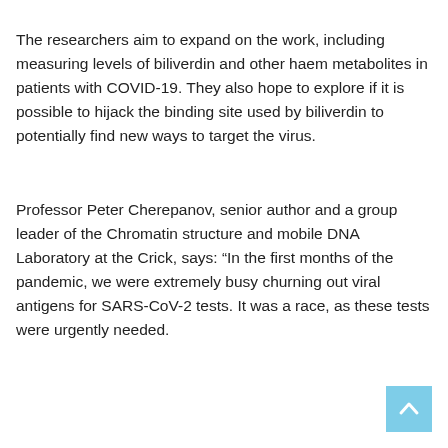The researchers aim to expand on the work, including measuring levels of biliverdin and other haem metabolites in patients with COVID-19. They also hope to explore if it is possible to hijack the binding site used by biliverdin to potentially find new ways to target the virus.
Professor Peter Cherepanov, senior author and a group leader of the Chromatin structure and mobile DNA Laboratory at the Crick, says: “In the first months of the pandemic, we were extremely busy churning out viral antigens for SARS-CoV-2 tests. It was a race, as these tests were urgently needed.